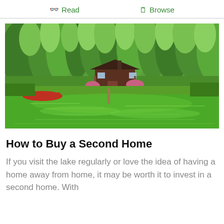👓 Read    🗒 Browse
[Figure (photo): A lakeside cabin surrounded by dense green trees, with a calm reflective green lake in the foreground and a small red boat to the left.]
How to Buy a Second Home
If you visit the lake regularly or love the idea of having a home away from home, it may be worth it to invest in a second home. With